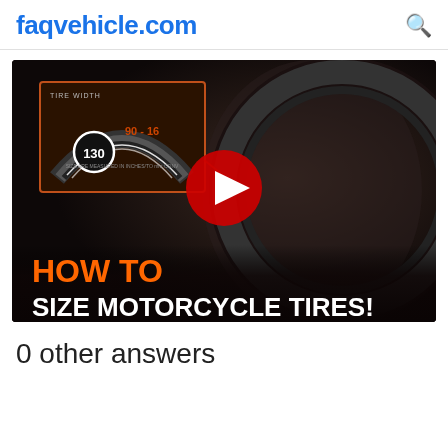faqvehicle.com
[Figure (screenshot): YouTube video thumbnail showing a bearded man holding a motorcycle tire, with an overlay card showing tire width diagram labeled '130', '90-16', and text 'TIRE WIDTH'. Bottom text reads 'HOW TO SIZE MOTORCYCLE TIRES!' with a red play button in the center.]
0 other answers